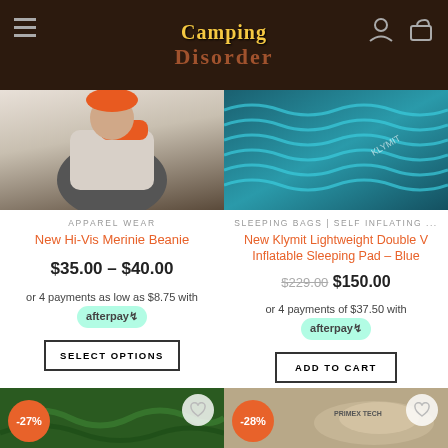[Figure (screenshot): Website header bar for Camping Disorder with hamburger menu, logo text, user and cart icons on dark brown background]
[Figure (photo): Product photo of Hi-Vis Merinie Beanie worn by person, gray and orange sweatshirt]
APPAREL WEAR
New Hi-Vis Merinie Beanie
$35.00 – $40.00
or 4 payments as low as $8.75 with afterpay
SELECT OPTIONS
[Figure (photo): Product photo of Klymit Lightweight Double V Inflatable Sleeping Pad in blue, teal wavy texture]
SLEEPING BAGS | SELF INFLATING ...
New Klymit Lightweight Double V Inflatable Sleeping Pad – Blue
$229.00  $150.00
or 4 payments of $37.50 with afterpay
ADD TO CART
[Figure (photo): Bottom left product thumbnail showing green sleeping pad with -27% discount badge and wishlist heart button]
[Figure (photo): Bottom right product thumbnail showing tan/beige pillow product (PrimaX brand) with -28% discount badge and wishlist heart button]